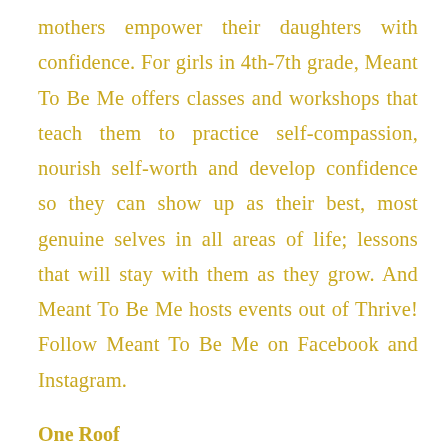mothers empower their daughters with confidence. For girls in 4th-7th grade, Meant To Be Me offers classes and workshops that teach them to practice self-compassion, nourish self-worth and develop confidence so they can show up as their best, most genuine selves in all areas of life; lessons that will stay with them as they grow. And Meant To Be Me hosts events out of Thrive! Follow Meant To Be Me on Facebook and Instagram.
One Roof
Founded out of Australia, One Roof is a digital